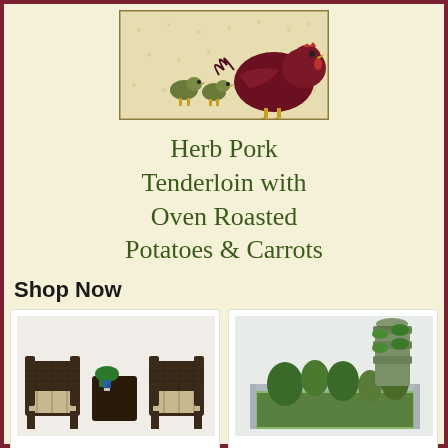[Figure (photo): Photo of a hen with chicks on a cream/tan background with floral pattern]
Herb Pork Tenderloin with Oven Roasted Potatoes & Carrots
Shop Now
[Figure (photo): Devoko Patio Porch Furniture Sets 3 Pieces PE Rattan Wicker outdoor chairs]
Devoko Patio Porch Furniture Sets 3 Pieces PE Rattan Wic...
$99.98
[Figure (photo): FOYUEE Galvanized Raised Garden Beds for Vegetables with plants growing]
FOYUEE Galvanized Raised Garden Beds for Vegetables...
$69.99 $109.99 prime